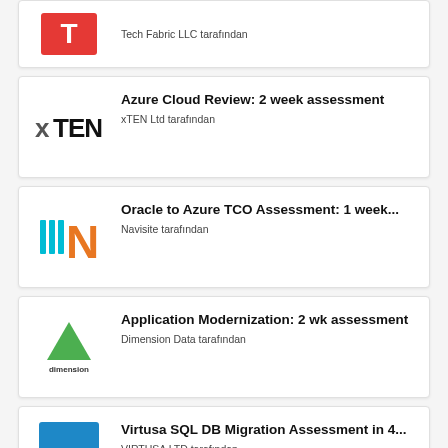[Figure (logo): Tech Fabric LLC red T logo (partial card at top)]
Tech Fabric LLC tarafından
[Figure (logo): xTEN Ltd logo in black and grey text]
Azure Cloud Review: 2 week assessment
xTEN Ltd tarafından
[Figure (logo): Navisite logo with cyan bars and orange N]
Oracle to Azure TCO Assessment: 1 week...
Navisite tarafından
[Figure (logo): Dimension Data logo with green triangle and text]
Application Modernization: 2 wk assessment
Dimension Data tarafından
[Figure (logo): Virtusa blue square logo]
Virtusa SQL DB Migration Assessment in 4...
VIRTUSA LTD tarafından